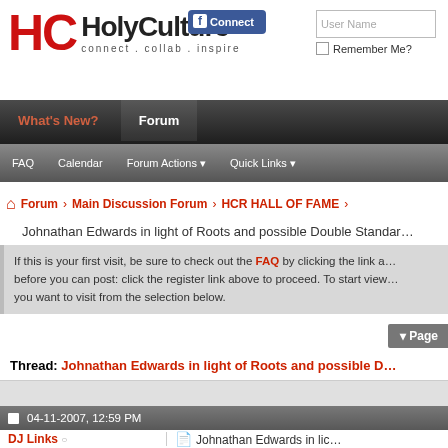HolyCulture connect . collab . inspire
Connect (Facebook) | User Name | Remember Me?
What's New? | Forum | FAQ | Calendar | Forum Actions | Quick Links
Forum > Main Discussion Forum > HCR HALL OF FAME
Johnathan Edwards in light of Roots and possible Double Standar...
If this is your first visit, be sure to check out the FAQ by clicking the link a... before you can post: click the register link above to proceed. To start view... you want to visit from the selection below.
▼ Page
Thread: Johnathan Edwards in light of Roots and possible D...
04-11-2007, 12:59 PM
DJ Links   Johnathan Edwards in lic...